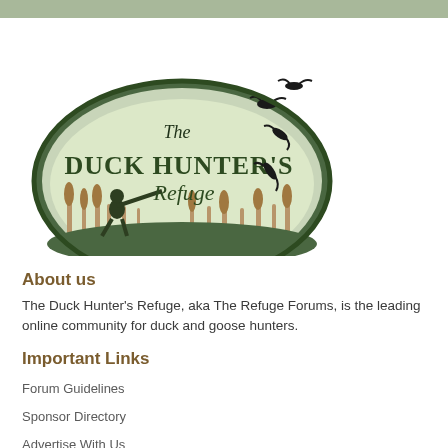[Figure (logo): The Duck Hunter's Refuge oval logo with hunter silhouette, cattails, and flying ducks in green and tan colors]
About us
The Duck Hunter's Refuge, aka The Refuge Forums, is the leading online community for duck and goose hunters.
Important Links
Forum Guidelines
Sponsor Directory
Advertise With Us
Useful Links